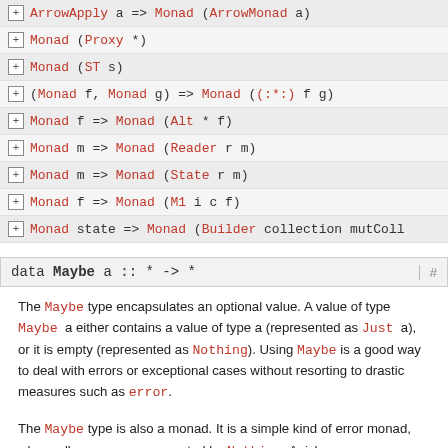⊞ ArrowApply a => Monad (ArrowMonad a)
⊞ Monad (Proxy *)
⊞ Monad (ST s)
⊞ (Monad f, Monad g) => Monad ((:*:) f g)
⊞ Monad f => Monad (Alt * f)
⊞ Monad m => Monad (Reader r m)
⊞ Monad m => Monad (State r m)
⊞ Monad f => Monad (M1 i c f)
⊞ Monad state => Monad (Builder collection mutColl...
data Maybe a :: * -> *
The Maybe type encapsulates an optional value. A value of type Maybe a either contains a value of type a (represented as Just a), or it is empty (represented as Nothing). Using Maybe is a good way to deal with errors or exceptional cases without resorting to drastic measures such as error.
The Maybe type is also a monad. It is a simple kind of error monad, where all errors are represented by Nothing. A richer...